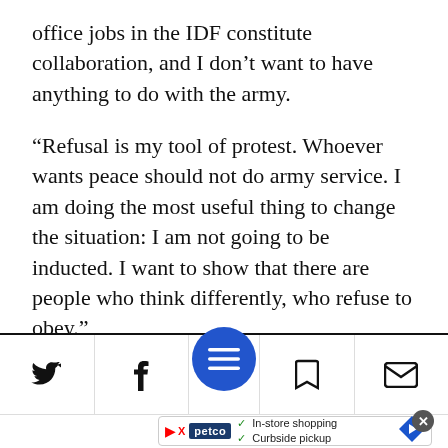office jobs in the IDF constitute collaboration, and I don’t want to have anything to do with the army.
“Refusal is my tool of protest. Whoever wants peace should not do army service. I am doing the most useful thing to change the situation: I am not going to be inducted. I want to show that there are people who think differently, who refuse to obey.”
Testimonies of soldiers compiled by the
[Figure (screenshot): Mobile browser toolbar with Twitter, Facebook, hamburger menu (blue circle), bookmark, and email icons, plus a Petco advertisement banner at the bottom]